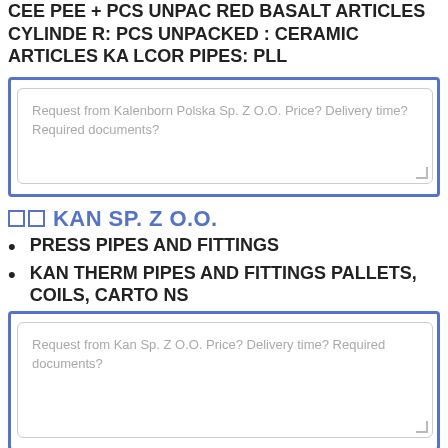CEE PEE + PCS UNPAC RED BASALT ARTICLES CYLINDE R: PCS UNPACKED : CERAMIC ARTICLES KA LCOR PIPES: PLL
Request from Kalenborn Polska Sp. Z O.O. Price? Delivery time? Required documents?
KAN SP. Z O.O.
PRESS PIPES AND FITTINGS
KAN THERM PIPES AND FITTINGS PALLETS, COILS, CARTO NS
Request from Kan Sp. Z O.O. Price? Delivery time? Required documents?